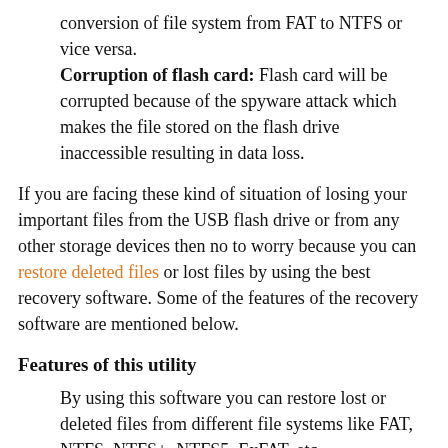conversion of file system from FAT to NTFS or vice versa.
Corruption of flash card: Flash card will be corrupted because of the spyware attack which makes the file stored on the flash drive inaccessible resulting in data loss.
If you are facing these kind of situation of losing your important files from the USB flash drive or from any other storage devices then no to worry because you can restore deleted files or lost files by using the best recovery software. Some of the features of the recovery software are mentioned below.
Features of this utility
By using this software you can restore lost or deleted files from different file systems like FAT, NTFS, NTFS+, NTFS5, ExFAT, etc.
This software also retrieves deleted flash card data from